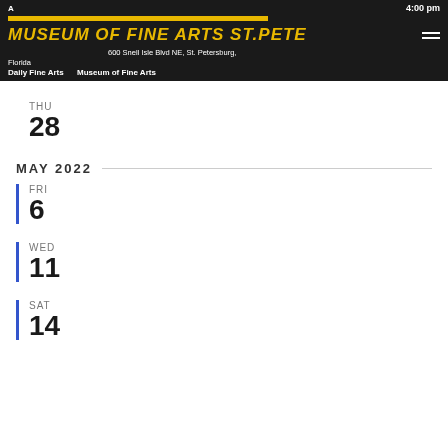Museum of Fine Arts St. Pete — 4:00 pm — 255 Beach Dr NE (and also 600 Snell Isle Blvd NE, St. Petersburg, Florida) — Daily Fine Art Museum of Fine Arts
THU 28
MAY 2022
FRI 6
WED 11
SAT 14